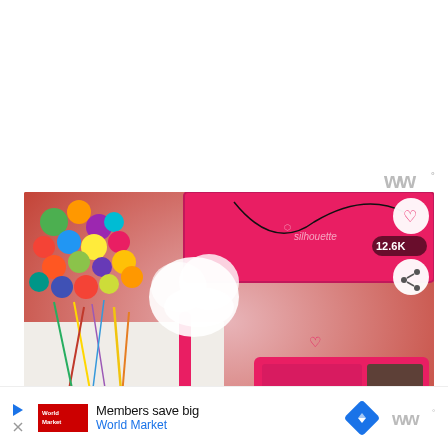[Figure (screenshot): White area at top of webpage with WW logo watermark in gray at top right]
[Figure (photo): Craft supplies photo showing pink Silhouette machine case, colorful pom-poms, pipe cleaners, a pink decorative box with cotton ball, and a wand with white fluffy top. Heart like button, 12.6K likes, share button, and 'WHAT'S NEXT → 100 Days of School Shirt...' overlay visible.]
[Figure (screenshot): Advertisement bar at bottom: play/close icons, World Market logo, 'Members save big' text, 'World Market' in blue, navigation diamond icon, WW logo]